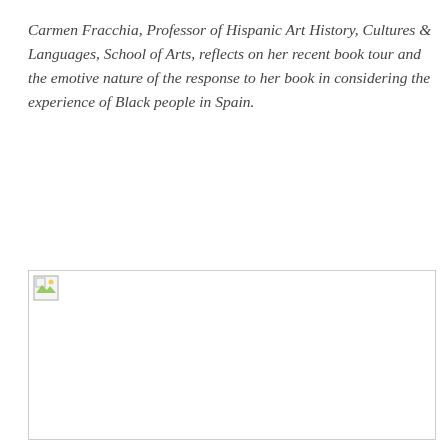Carmen Fracchia, Professor of Hispanic Art History, Cultures & Languages, School of Arts, reflects on her recent book tour and the emotive nature of the response to her book in considering the experience of Black people in Spain.
[Figure (photo): Broken/missing image placeholder with small image icon in top-left corner]